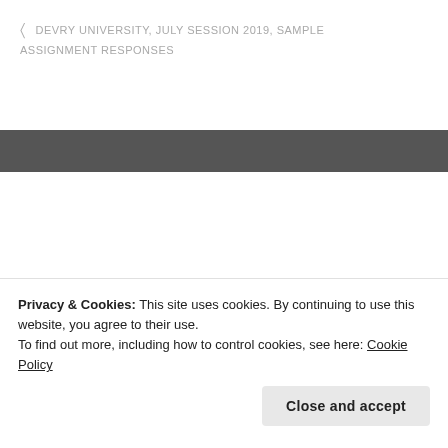DEVRY UNIVERSITY, JULY SESSION 2019, SAMPLE ASSIGNMENT RESPONSES
PREVIOUS POST
A Robin Hobb Rereading Series: Entry 23: Assassin's Apprentice, Chapter 23
NEXT POST
Privacy & Cookies: This site uses cookies. By continuing to use this website, you agree to their use.
To find out more, including how to control cookies, see here: Cookie Policy
Close and accept